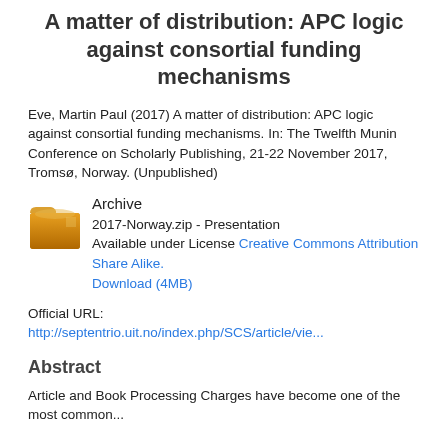A matter of distribution: APC logic against consortial funding mechanisms
Eve, Martin Paul (2017) A matter of distribution: APC logic against consortial funding mechanisms. In: The Twelfth Munin Conference on Scholarly Publishing, 21-22 November 2017, Tromsø, Norway. (Unpublished)
[Figure (illustration): Orange/tan folder archive icon]
Archive
2017-Norway.zip - Presentation
Available under License Creative Commons Attribution Share Alike.
Download (4MB)
Official URL:
http://septentrio.uit.no/index.php/SCS/article/vie...
Abstract
Article and Book Processing Charges have become one of the most common...